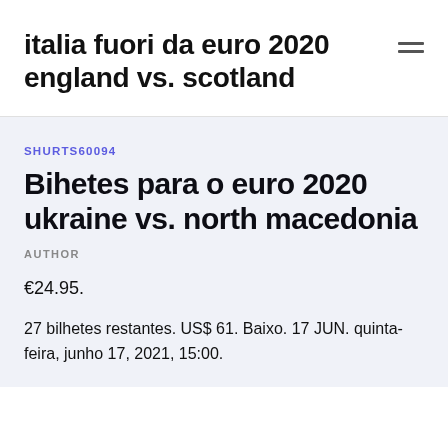italia fuori da euro 2020 england vs. scotland
SHURTS60094
Bihetes para o euro 2020 ukraine vs. north macedonia
AUTHOR
€24.95.
27 bilhetes restantes. US$ 61. Baixo. 17 JUN. quinta-feira, junho 17, 2021, 15:00.